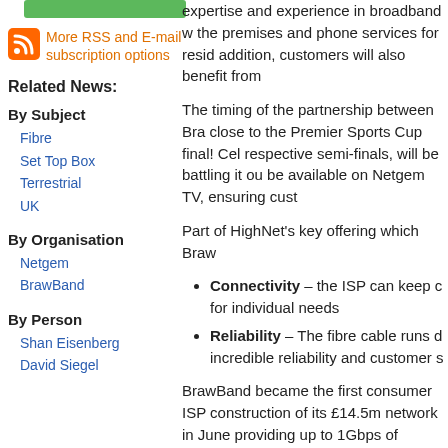[Figure (other): Green button element at top of left column]
More RSS and E-mail subscription options
Related News:
By Subject
Fibre
Set Top Box
Terrestrial
UK
By Organisation
Netgem
BrawBand
By Person
Shan Eisenberg
David Siegel
expertise and experience in broadband w... the premises and phone services for resid... addition, customers will also benefit from...
The timing of the partnership between Bra... close to the Premier Sports Cup final! Cel... respective semi-finals, will be battling it ou... be available on Netgem TV, ensuring cust...
Part of HighNet's key offering which Braw...
Connectivity – the ISP can keep c... for individual needs
Reliability – The fibre cable runs d... incredible reliability and customer s...
BrawBand became the first consumer ISP... construction of its £14.5m network in June... providing up to 1Gbps of bandwidth when... to full fibre.
Shan Eisenberg, Chief Commercial Office... for new as well as existing BrawBand cus... final, through some of the fastest speeds...
David Siegel, Managing Director, BrawBa...